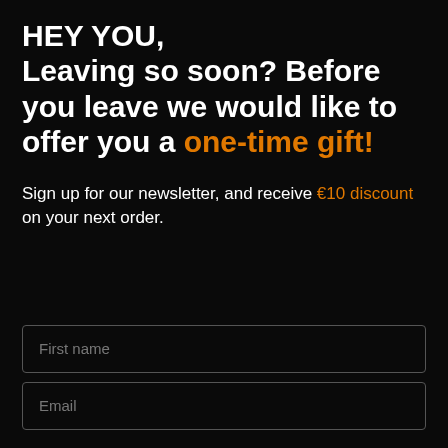HEY YOU, Leaving so soon? Before you leave we would like to offer you a one-time gift!
Sign up for our newsletter, and receive €10 discount on your next order.